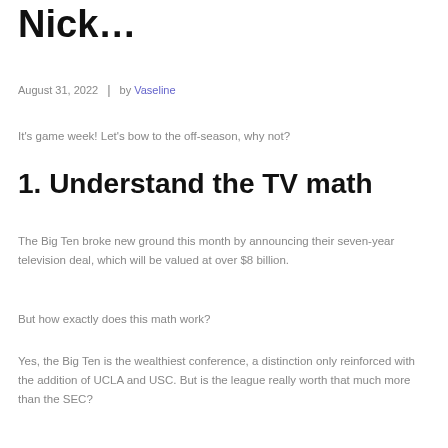Nick…
August 31, 2022  |  by Vaseline
It's game week! Let's bow to the off-season, why not?
1. Understand the TV math
The Big Ten broke new ground this month by announcing their seven-year television deal, which will be valued at over $8 billion.
But how exactly does this math work?
Yes, the Big Ten is the wealthiest conference, a distinction only reinforced with the addition of UCLA and USC. But is the league really worth that much more than the SEC?